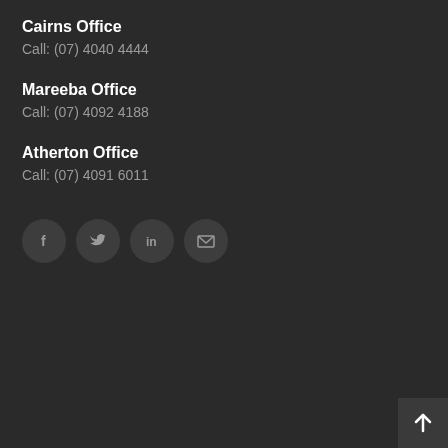Cairns Office
Call: (07) 4040 4444
Mareeba Office
Call: (07) 4092 4188
Atherton Office
Call: (07) 4091 6011
[Figure (infographic): Four social media icon buttons in dark circles: Facebook (f), Twitter (bird), LinkedIn (in), Email (envelope)]
[Figure (infographic): Back to top arrow button in bottom-right corner]